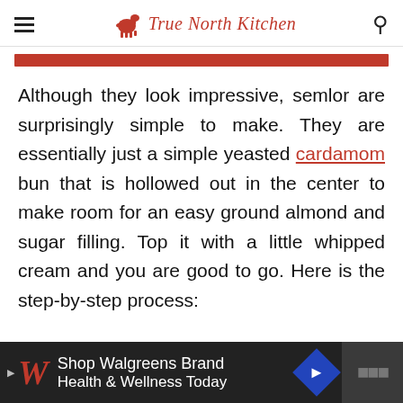True North Kitchen
Although they look impressive, semlor are surprisingly simple to make. They are essentially just a simple yeasted cardamom bun that is hollowed out in the center to make room for an easy ground almond and sugar filling. Top it with a little whipped cream and you are good to go. Here is the step-by-step process:
[Figure (other): Shop Walgreens Brand Health & Wellness Today advertisement banner with Walgreens logo and blue diamond arrow icon]